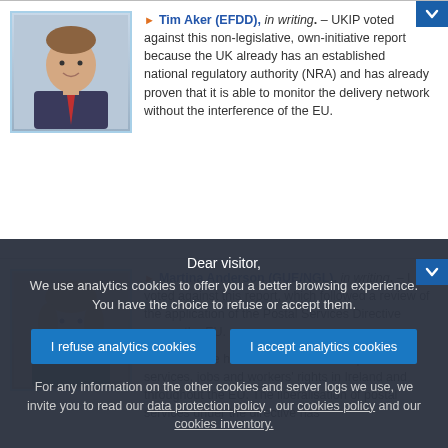Tim Aker (EFDD), in writing. – UKIP voted against this non-legislative, own-initiative report because the UK already has an established national regulatory authority (NRA) and has already proven that it is able to monitor the delivery network without the interference of the EU.
[Figure (photo): Headshot of Tim Aker, male politician in suit]
Martina Anderson (GUE/NGL), in writing. – I voted against this report, which followed a review of the application of the Postal Services Directive across the EU. This Directive has been disastrous for public services, jobs and workers' rights in Ireland and throughout the EU. The liberalisation of postal services under the directive has
[Figure (photo): Headshot of Martina Anderson, female politician]
Dear visitor, We use analytics cookies to offer you a better browsing experience. You have the choice to refuse or accept them. I refuse analytics cookies | I accept analytics cookies. For any information on the other cookies and server logs we use, we invite you to read our data protection policy , our cookies policy and our cookies inventory.